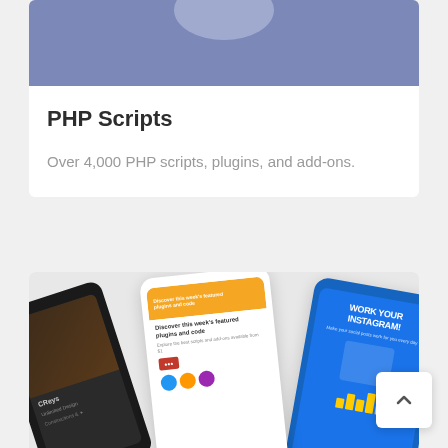[Figure (illustration): Partial view of a card with a muted blue/purple banner image at the top, partially cropped]
PHP Scripts
Over 4,000 PHP scripts, plugins, and add-ons.
[Figure (screenshot): Collage of mobile phone mockups showing various app screens including an orange featured plugins screen, a dark portfolio screen, and a blue Instagram-themed screen]
Android App